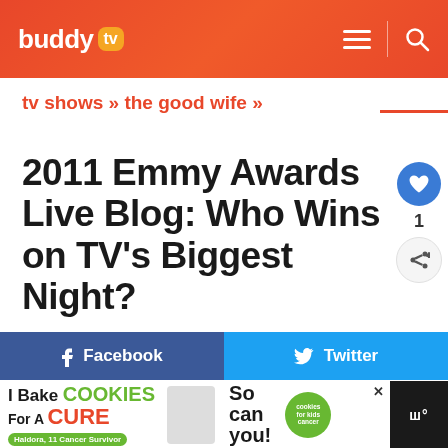buddy tv — navigation header
tv shows » the good wife »
2011 Emmy Awards Live Blog: Who Wins on TV's Biggest Night?
Sep 18, 2011  •  Buddy TV
Facebook
Twitter
[Figure (other): Advertisement banner: I Bake Cookies For A Cure — Haldora, 11 Cancer Survivor — So can you! — cookies for kids cancer logo]